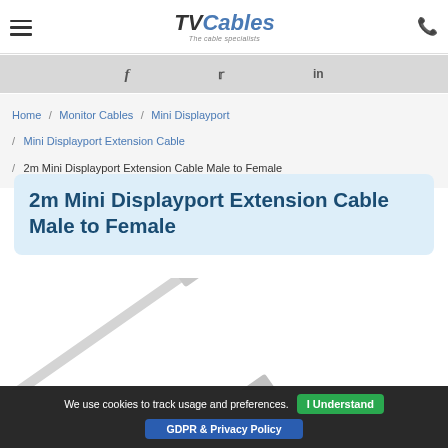TVCables – The cable specialists
f  (twitter bird)  in
Home / Monitor Cables / Mini Displayport / Mini Displayport Extension Cable / 2m Mini Displayport Extension Cable Male to Female
2m Mini Displayport Extension Cable Male to Female
[Figure (photo): Photo of a white 2m Mini Displayport Extension Cable, showing male and female connectors on a white cable]
We use cookies to track usage and preferences.  I Understand
GDPR & Privacy Policy